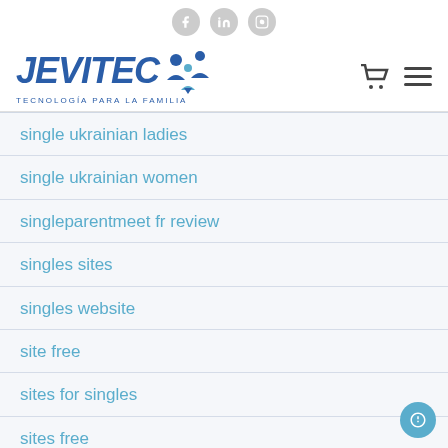JEVITEC — TECNOLOGÍA PARA LA FAMILIA (with social icons: Facebook, LinkedIn, Instagram)
single ukrainian ladies
single ukrainian women
singleparentmeet fr review
singles sites
singles website
site free
sites for singles
sites free
sites-de-rencontre-chinois exp?riences